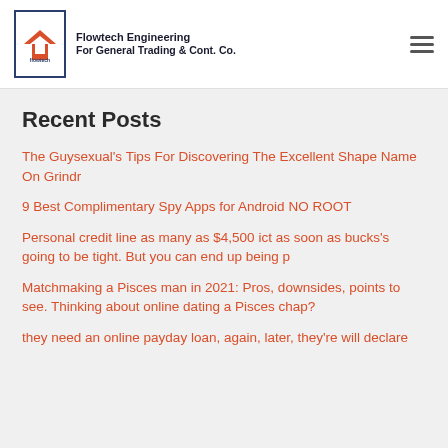Flowtech Engineering For General Trading & Cont. Co.
Recent Posts
The Guysexual's Tips For Discovering The Excellent Shape Name On Grindr
9 Best Complimentary Spy Apps for Android NO ROOT
Personal credit line as many as $4,500 ict as soon as bucks's going to be tight. But you can end up being p
Matchmaking a Pisces man in 2021: Pros, downsides, points to see. Thinking about online dating a Pisces chap?
they need an online payday loan, again, later, they're will declare